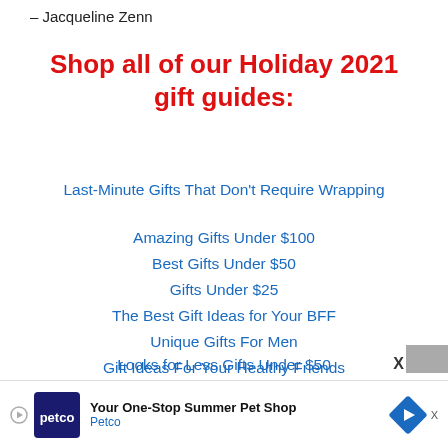– Jacqueline Zenn
Shop all of our Holiday 2021 gift guides:
Last-Minute Gifts That Don't Require Wrapping
Amazing Gifts Under $100
Best Gifts Under $50
Gifts Under $25
The Best Gift Ideas for Your BFF
Unique Gifts For Men
Gift Ideas For Your Healthy Friends
Gifts For People Who Are Impossible To Shop For
Looks for Less Gifts Under $50
[Figure (infographic): Petco advertisement banner: 'Your One-Stop Summer Pet Shop' with Petco logo and blue diamond arrow icon]